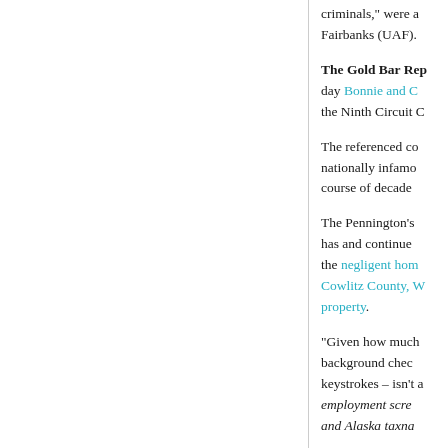criminals," were a Fairbanks (UAF).
The Gold Bar Rep
day Bonnie and C the Ninth Circuit C
The referenced co nationally infamo course of decade
The Pennington's has and continue the negligent hom Cowlitz County, W property.
"Given how much background chec keystrokes – isn't a employment scre and Alaska taxna